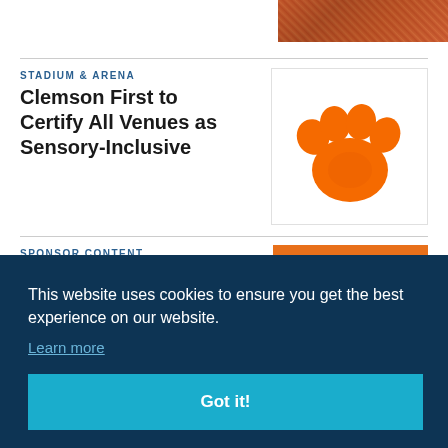[Figure (photo): Crowd photo at stadium, top right corner, partially visible]
STADIUM & ARENA
Clemson First to Certify All Venues as Sensory-Inclusive
[Figure (logo): Clemson Tigers orange paw print logo on white background]
SPONSOR CONTENT
The ABCs of VIP: How the VIP
[Figure (photo): Stadium interior photo showing orange seats and field]
This website uses cookies to ensure you get the best experience on our website.
Learn more
Got it!
Santa Clara, 49ers Settle Lawsuit